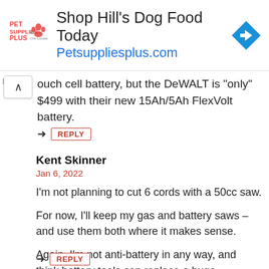[Figure (other): Pet Supplies Plus advertisement banner for Hill's Dog Food with logo, headline, URL, and directional icon]
ouch cell battery, but the DeWALT is “only” $499 with their new 15Ah/5Ah FlexVolt battery.
REPLY
Kent Skinner
Jan 6, 2022
I’m not planning to cut 6 cords with a 50cc saw.
For now, I’ll keep my gas and battery saws – and use them both where it makes sense.
Again, I’m not anti-battery in any way, and think battery tools can replace a huge percentage of gas tools. But not all of them, yet.
REPLY